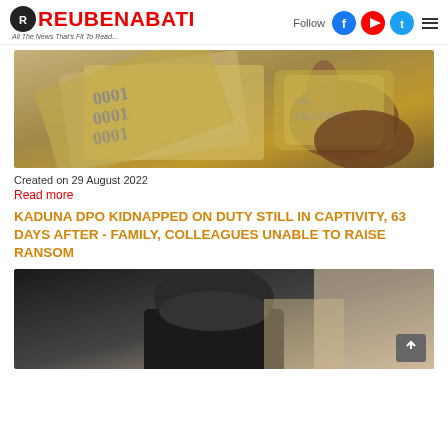ReubenAbati - All The News That's Fit To Read...
[Figure (photo): Close-up photo of hands holding US dollar bills fanned out]
Created on 29 August 2022
Read more
KADUNA DPO KIDNAPPED ON DUTY STILL IN CAPTIVITY, 63 DAYS AFTER - FAMILY, COLLEAGUES UNABLE TO RAISE RANSOM
[Figure (photo): Photo of a person in dark clothing, partially visible, against a beige background]